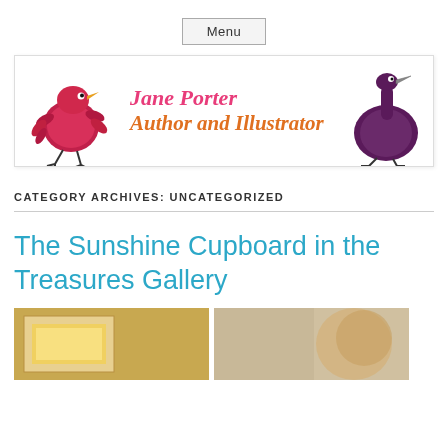Menu
[Figure (illustration): Jane Porter Author and Illustrator website banner with two whimsical bird illustrations and colorful text]
CATEGORY ARCHIVES: UNCATEGORIZED
The Sunshine Cupboard in the Treasures Gallery
[Figure (photo): Two thumbnail images at the bottom of the page]
[Figure (photo): Second thumbnail image]